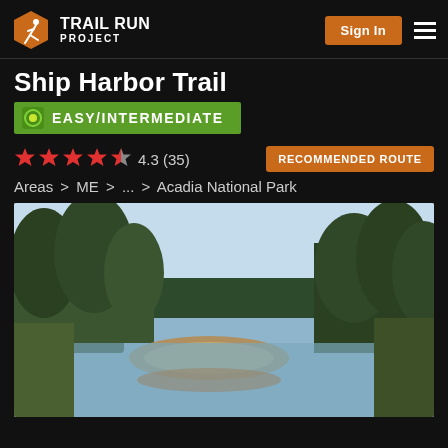Trail Run Project — Sign In
Ship Harbor Trail
EASY/INTERMEDIATE
4.3 (35) — RECOMMENDED ROUTE
Areas > ME > ... > Acadia National Park
[Figure (photo): Scenic photo of Ship Harbor Trail showing a calm tidal estuary with a sandy/rocky bar in the foreground, flanked by dense evergreen forest on both sides, under a clear blue sky.]